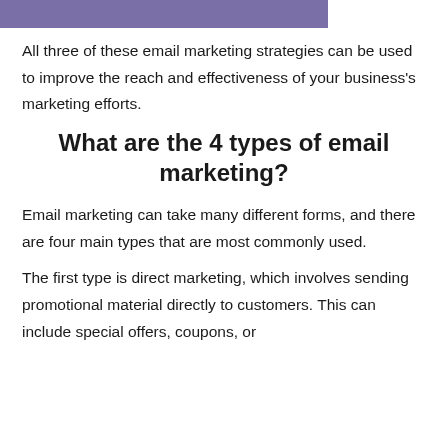[Figure (other): Purple/lavender horizontal bar at top of page]
All three of these email marketing strategies can be used to improve the reach and effectiveness of your business's marketing efforts.
What are the 4 types of email marketing?
Email marketing can take many different forms, and there are four main types that are most commonly used.
The first type is direct marketing, which involves sending promotional material directly to customers. This can include special offers, coupons, or